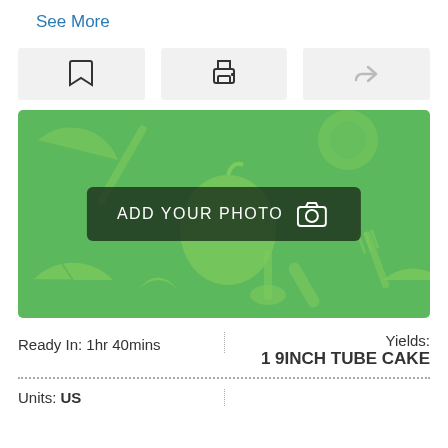See More
[Figure (screenshot): Three icon buttons: bookmark, print, and share/forward icons in light gray boxes]
[Figure (photo): Green background with light green food icon illustrations (fruit, utensils, spoon). Center has a dark overlay button reading ADD YOUR PHOTO with a camera icon.]
Ready In: 1hr 40mins
Yields: 1 9INCH TUBE CAKE
Units: US